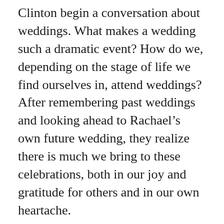Clinton begin a conversation about weddings. What makes a wedding such a dramatic event? How do we, depending on the stage of life we find ourselves in, attend weddings? After remembering past weddings and looking ahead to Rachael’s own future wedding, they realize there is much we bring to these celebrations, both in our joy and gratitude for others and in our own heartache.
Dan opens this episode by noting that he doesn’t think they have done a bridal-oriented podcast before. He and Rachael hope to address how we go to a wedding, whether it’s our children getting married, a friend, or even our own wedding, and how we go whether we’re married or single. And,